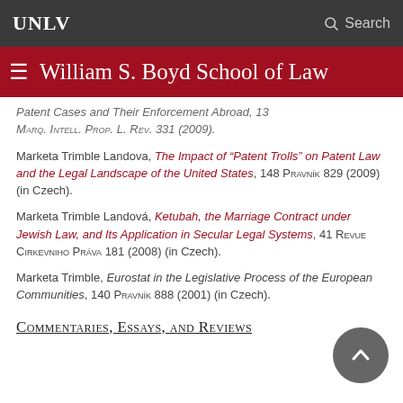UNLV | Search
William S. Boyd School of Law
Patent Cases and Their Enforcement Abroad, 13 Marq. Intell. Prop. L. Rev. 331 (2009).
Marketa Trimble Landova, The Impact of “Patent Trolls” on Patent Law and the Legal Landscape of the United States, 148 Pravník 829 (2009) (in Czech).
Marketa Trimble Landová, Ketubah, the Marriage Contract under Jewish Law, and Its Application in Secular Legal Systems, 41 Revue Cirkevniho Práva 181 (2008) (in Czech).
Marketa Trimble, Eurostat in the Legislative Process of the European Communities, 140 Pravník 888 (2001) (in Czech).
Commentaries, Essays, and Reviews